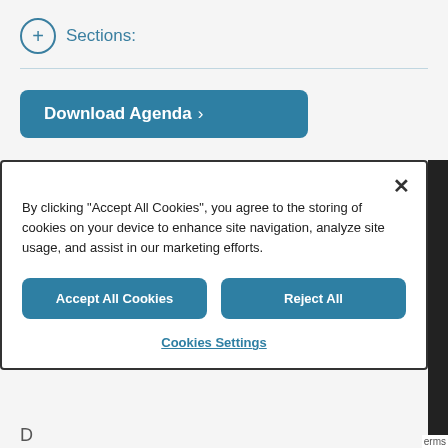+ Sections:
Download Agenda >
By clicking "Accept All Cookies", you agree to the storing of cookies on your device to enhance site navigation, analyze site usage, and assist in our marketing efforts.
Accept All Cookies
Reject All
Cookies Settings